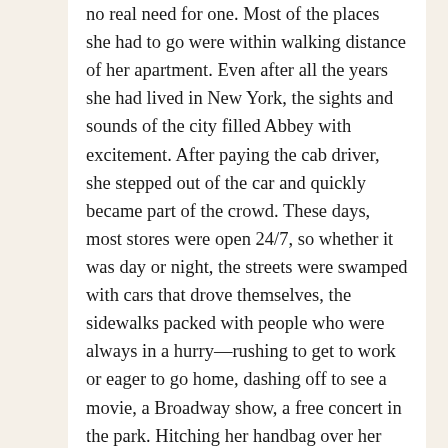no real need for one. Most of the places she had to go were within walking distance of her apartment. Even after all the years she had lived in New York, the sights and sounds of the city filled Abbey with excitement. After paying the cab driver, she stepped out of the car and quickly became part of the crowd. These days, most stores were open 24/7, so whether it was day or night, the streets were swamped with cars that drove themselves, the sidewalks packed with people who were always in a hurry—rushing to get to work or eager to go home, dashing off to see a movie, a Broadway show, a free concert in the park. Hitching her handbag over her shoulder, Abbey stared at the gleaming glass-fronted façade of the computer store. Her knowledge of digital devices started and ended with her iPod, which was nothing like the current high-tech phones, iPads, and computers. She could find music, text when